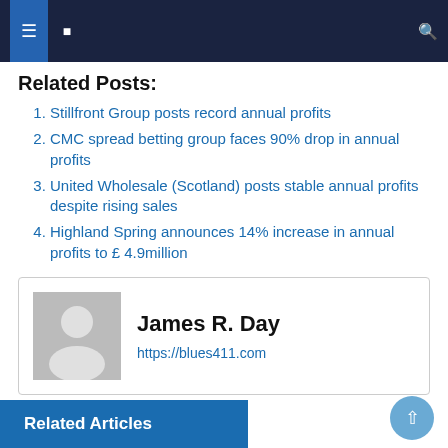Navigation bar with icons
Related Posts:
Stillfront Group posts record annual profits
CMC spread betting group faces 90% drop in annual profits
United Wholesale (Scotland) posts stable annual profits despite rising sales
Highland Spring announces 14% increase in annual profits to £ 4.9million
James R. Day
https://blues411.com
Related Articles